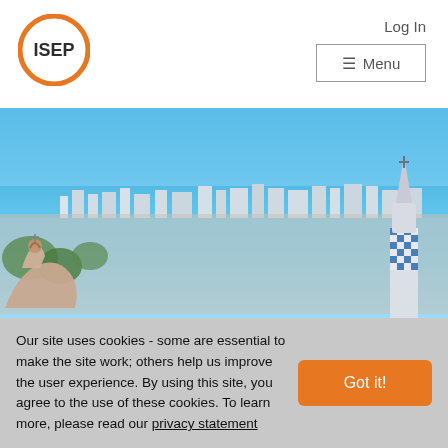[Figure (logo): ISEP logo: orange circle with ISEP text inside in dark gray bold font]
Log In
≡ Menu
[Figure (photo): Aerial panoramic photo of Barcelona cityscape featuring Gaudi architecture (Park Guell buildings in foreground) and a tall mosaic tower on the right, blue sky and Mediterranean sea in background]
Our site uses cookies - some are essential to make the site work; others help us improve the user experience. By using this site, you agree to the use of these cookies. To learn more, please read our privacy statement